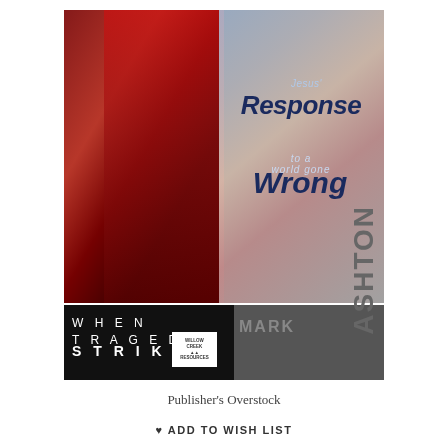[Figure (illustration): Book cover for 'When Tragedy Strikes' by Mark Ashton. Subtitle: Jesus' Response to a world gone Wrong. Published by Willow Creek Resources. Background shows American flag imagery in red tones on the left half and muted gray/blurred imagery on the right. The bottom band is black with white lettering for the series title and author name.]
Publisher's Overstock
ADD TO WISH LIST